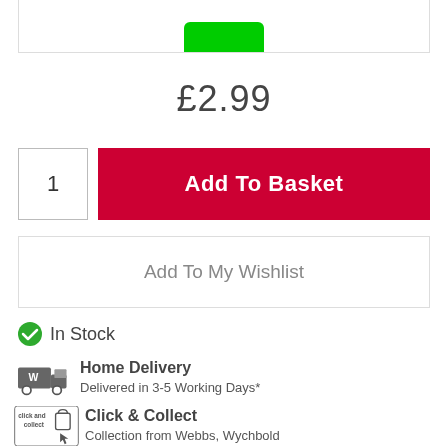[Figure (photo): Green product item (cylindrical/ribbon) shown at top of page, partially cropped, inside a bordered box]
£2.99
1
Add To Basket
Add To My Wishlist
In Stock
Home Delivery
Delivered in 3-5 Working Days*
Click & Collect
Collection from Webbs, Wychbold